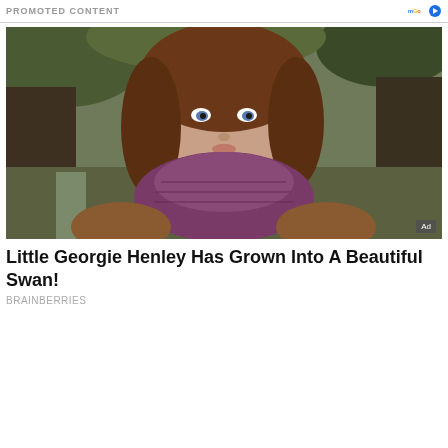PROMOTED CONTENT
[Figure (photo): Portrait photo of a young woman with brown hair and blue eyes, wearing a purple knit scarf, outdoors with green mossy background. 'Ad' badge in bottom-right corner.]
Little Georgie Henley Has Grown Into A Beautiful Swan!
BRAINBERRIES